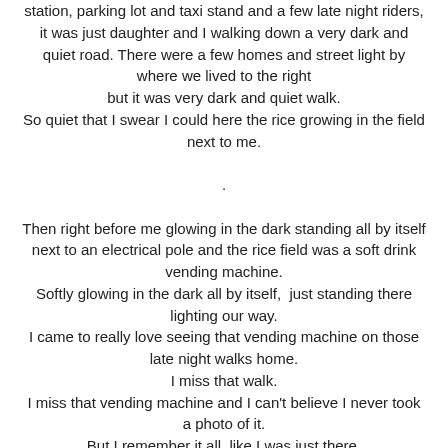station, parking lot and taxi stand and a few late night riders, it was just daughter and I walking down a very dark and quiet road. There were a few homes and street light by where we lived to the right but it was very dark and quiet walk. So quiet that I swear I could here the rice growing in the field next to me.

.

Then right before me glowing in the dark standing all by itself next to an electrical pole and the rice field was a soft drink vending machine. Softly glowing in the dark all by itself,  just standing there lighting our way. I came to really love seeing that vending machine on those late night walks home. I miss that walk. I miss that vending machine and I can't believe I never took a photo of it. But I remember it all, like I was just there. Walking down that road over the stone bridge and stream again late last night. So strong is the feeling that I swear can hear the rice